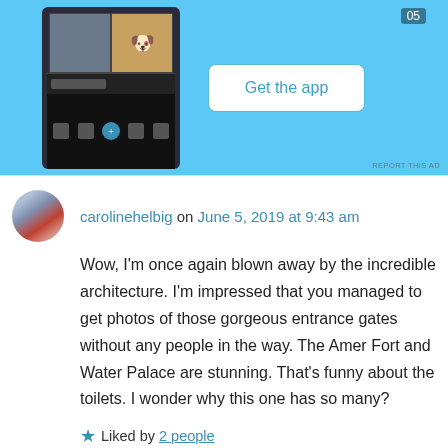[Figure (screenshot): App advertisement banner with a phone screenshot showing an app interface and a 'Get the app' button on a light blue background. 'REPORT THIS AD' link at bottom right.]
carolinehelbig on June 5, 2019 at 9:43 am
Wow, I'm once again blown away by the incredible architecture. I'm impressed that you managed to get photos of those gorgeous entrance gates without any people in the way. The Amer Fort and Water Palace are stunning. That's funny about the toilets. I wonder why this one has so many?
Liked by 2 people
Reply